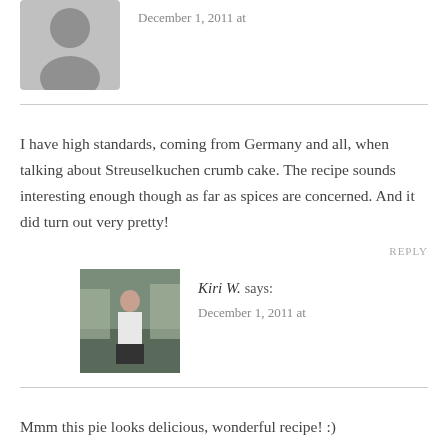[Figure (photo): Grey silhouette avatar placeholder for a commenter]
December 1, 2011 at
I have high standards, coming from Germany and all, when talking about Streuselkuchen crumb cake. The recipe sounds interesting enough though as far as spices are concerned. And it did turn out very pretty!
REPLY
[Figure (photo): Photo of Kiri W. standing on a street]
Kiri W. says:
December 1, 2011 at
Mmm this pie looks delicious, wonderful recipe! :)
REPLY
[Figure (photo): Photo of Kelly, blonde woman]
Kelly says:
December 1, 2011 at